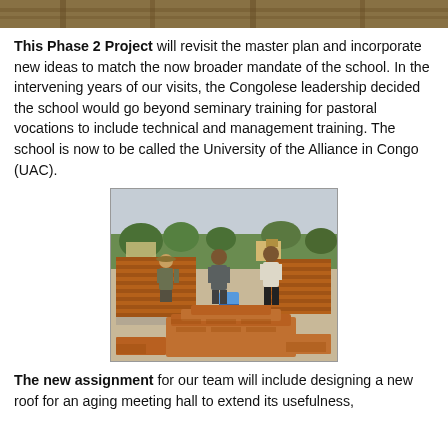[Figure (photo): Partial cropped photo at top of page showing a building structure with wooden beams/roof framing visible]
This Phase 2 Project will revisit the master plan and incorporate new ideas to match the now broader mandate of the school. In the intervening years of our visits, the Congolese leadership decided the school would go beyond seminary training for pastoral vocations to include technical and management training. The school is now to be called the University of the Alliance in Congo (UAC).
[Figure (photo): Construction photo showing three workers standing among red/orange bricks at a building site with partial brick walls, a blue bucket, and green trees and buildings visible in the background under a cloudy sky.]
The new assignment for our team will include designing a new roof for an aging meeting hall to extend its usefulness, designing a faculty and guest housing cluster in a new area of the campus, and designing additional academic buildings.